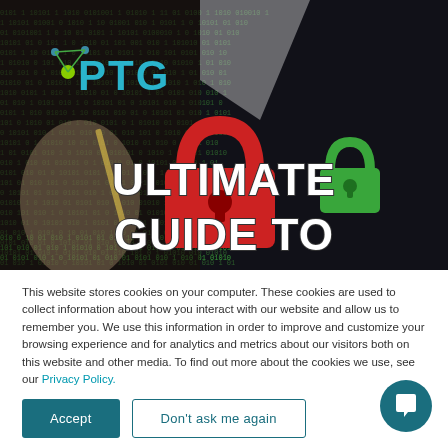[Figure (photo): Hero image: dark cybersecurity background with binary code overlay, a person holding a pencil, a large red padlock graphic with green padlock, and white bold text reading 'ULTIMATE GUIDE TO'. PTG logo (teal letters with green/teal dot network icon) in upper left.]
This website stores cookies on your computer. These cookies are used to collect information about how you interact with our website and allow us to remember you. We use this information in order to improve and customize your browsing experience and for analytics and metrics about our visitors both on this website and other media. To find out more about the cookies we use, see our Privacy Policy.